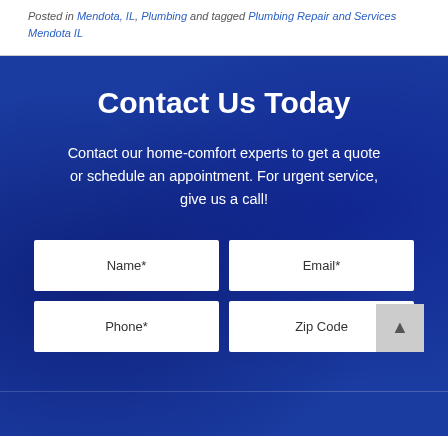Posted in Mendota, IL, Plumbing and tagged Plumbing Repair and Services Mendota IL
Contact Us Today
Contact our home-comfort experts to get a quote or schedule an appointment. For urgent service, give us a call!
[Figure (screenshot): Contact form with fields: Name*, Email*, Phone*, Zip Code on a blue background with worker photo overlay]